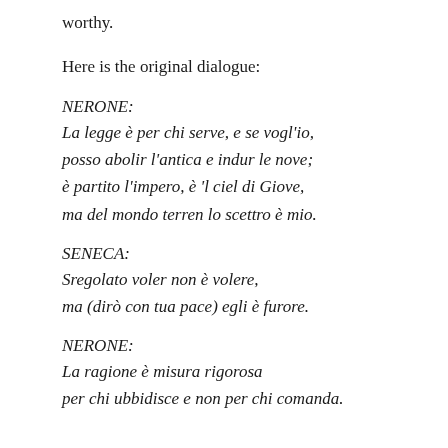worthy.
Here is the original dialogue:
NERONE:
La legge è per chi serve, e se vogl'io,
posso abolir l'antica e indur le nove;
è partito l'impero, è 'l ciel di Giove,
ma del mondo terren lo scettro è mio.
SENECA:
Sregolato voler non è volere,
ma (dirò con tua pace) egli è furore.
NERONE:
La ragione è misura rigorosa
per chi ubbidisce e non per chi comanda.